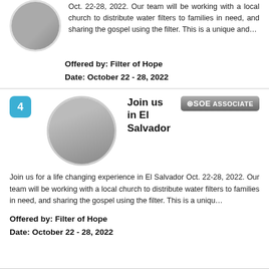Oct. 22-28, 2022. Our team will be working with a local church to distribute water filters to families in need, and sharing the gospel using the filter. This is a unique and…
Offered by: Filter of Hope
Date: October 22 - 28, 2022
Join us in El Salvador
Join us for a life changing experience in El Salvador Oct. 22-28, 2022. Our team will be working with a local church to distribute water filters to families in need, and sharing the gospel using the filter. This is a uniqu…
Offered by: Filter of Hope
Date: October 22 - 28, 2022